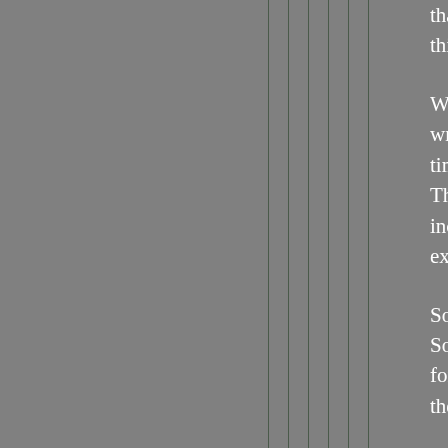that regardless of what you do, au this.
Whether it's mailing in original ess writing a composition for the UK M time. When I say academic writing The UK participants in the survey include scientific studies, history, expected to write two essays for e
So how much does it cost to get th Some companies will charge more for one writer to complete your pr the reason why a lot of students p
These companies only pay you for want to. You can also use the sup thesis and dissertations. If you wo opposed to weeks or months.
You will be provided with a compr